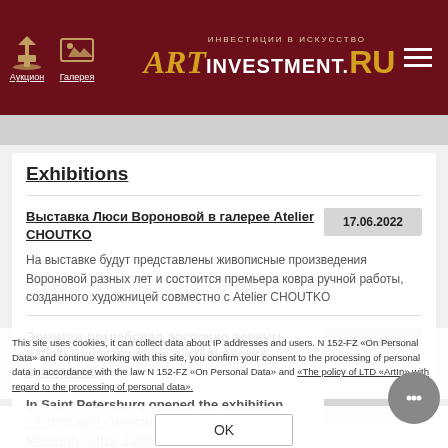ARTinvestment.RU — Аукцион, Галерея
Exhibitions
Выставка Люси Вороновой в галерее Atelier CHOUTKO
17.06.2022
На выставке будут представлены живописные произведения Вороновой разных лет и состоится премьера ковра ручной работы, созданного художницей совместно с Atelier CHOUTKO
Эрмитаж потребовал досрочно вернуть работы, участвующие в итальянских выставках
14.03.2022
В Русском музее открылась выставка «Художники и коллекционеры — Русскому музею. Дары. 1898–2022»
In Saint Petersburg opened the exhibition "Artists and collectors — to the Russian Museum. Gifts. 1898–...les"
The exhibition, held simultaneously on all the main belt, has
This site uses cookies, it can collect data about IP addresses and users. N 152-FZ «On Personal Data» and continue working with this site, you confirm your consent to the processing of personal data in accordance with the law N 152-FZ «On Personal Data» and «The policy of LTD «ArtIn» with regard to the processing of personal data».
OK